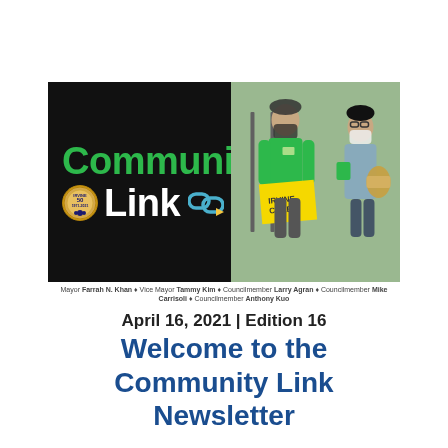[Figure (photo): Community Link newsletter banner header. Left half: black background with green 'Community' text and white 'Link' text with a 50th anniversary medallion and a chain link icon in teal/blue. Right half: photo of two people wearing masks and green uniforms, one holding a yellow sign.]
Mayor Farrah N. Khan | Vice Mayor Tammy Kim | Councilmember Larry Agran | Councilmember Mike Carrisoli | Councilmember Anthony Kuo
April 16, 2021 | Edition 16
Welcome to the Community Link Newsletter